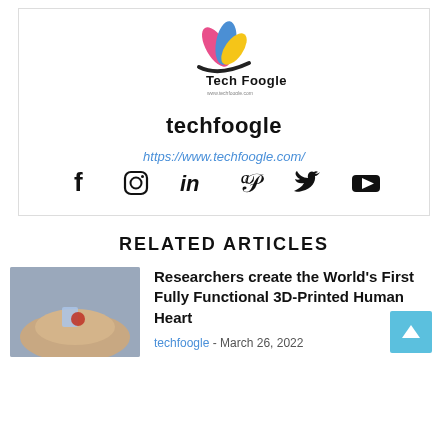[Figure (logo): Tech Foogle logo with colorful book/flame icon and text 'Tech Foogle' with website URL below]
techfoogle
https://www.techfoogle.com/
[Figure (infographic): Social media icons row: Facebook, Instagram, LinkedIn, Pinterest, Twitter, YouTube]
RELATED ARTICLES
[Figure (photo): Hand holding small 3D-printed heart objects]
Researchers create the World's First Fully Functional 3D-Printed Human Heart
techfoogle - March 26, 2022